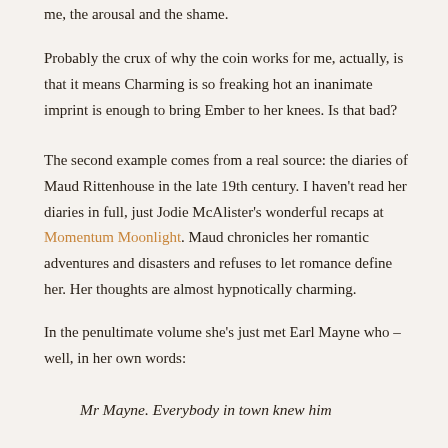me, the arousal and the shame.
Probably the crux of why the coin works for me, actually, is that it means Charming is so freaking hot an inanimate imprint is enough to bring Ember to her knees. Is that bad?
The second example comes from a real source: the diaries of Maud Rittenhouse in the late 19th century. I haven't read her diaries in full, just Jodie McAlister's wonderful recaps at Momentum Moonlight. Maud chronicles her romantic adventures and disasters and refuses to let romance define her. Her thoughts are almost hypnotically charming.
In the penultimate volume she's just met Earl Mayne who – well, in her own words:
Mr Mayne. Everybody in town knew him